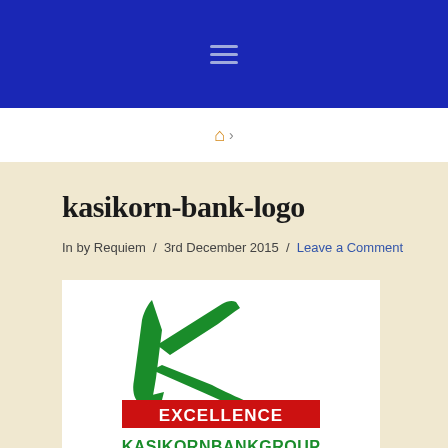Navigation header bar with hamburger menu
Home breadcrumb navigation
kasikorn-bank-logo
In by Requiem / 3rd December 2015 / Leave a Comment
[Figure (logo): Kasikorn Bank logo featuring a green stylized K letter, a red banner with white text EXCELLENCE, and green bold text KASIKORNBANKGROUP below]